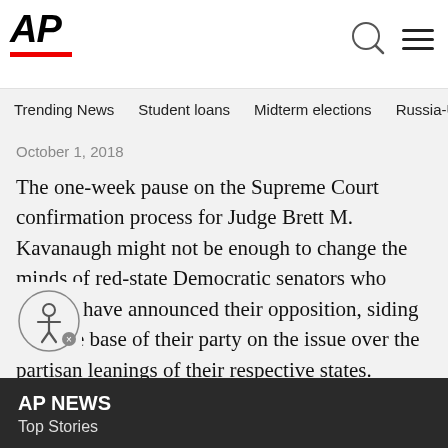AP
Trending News   Student loans   Midterm elections   Russia-Ukr
October 1, 2018
The one-week pause on the Supreme Court confirmation process for Judge Brett M. Kavanaugh might not be enough to change the minds of red-state Democratic senators who already have announced their opposition, siding with the base of their party on the issue over the partisan leanings of their respective states.
[Figure (illustration): Accessibility icon — person inside a circle with a small close button, outlined circle border]
AP NEWS
Top Stories